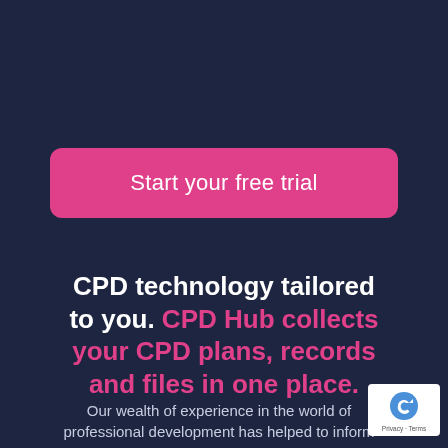Start your free trial
CPD technology tailored to you. CPD Hub collects your CPD plans, records and files in one place.
Our wealth of experience in the world of professional development has helped to inform